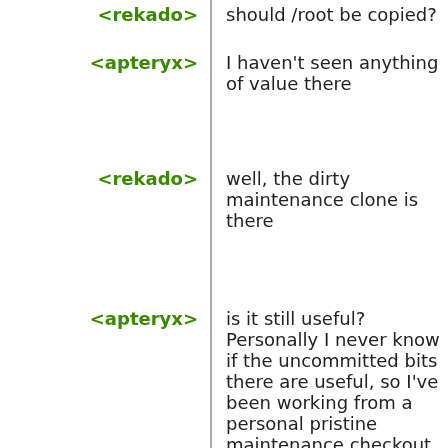<rekado> should /root be copied?
<apteryx> I haven't seen anything of value there
<rekado> well, the dirty maintenance clone is there
<apteryx> is it still useful? Personally I never know if the uncommitted bits there are useful, so I've been working from a personal pristine maintenance checkout under ~/src/maintenance